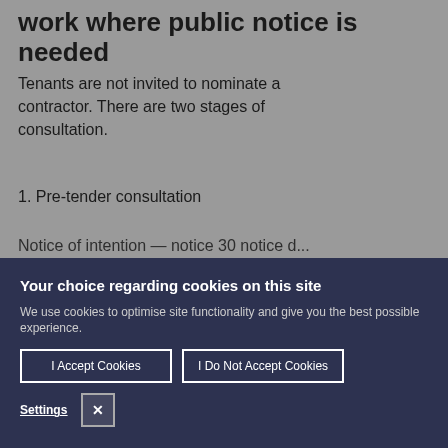work where public notice is needed
Tenants are not invited to nominate a contractor. There are two stages of consultation.
1. Pre-tender consultation
Notice of intention — notice 30 notice d...
Your choice regarding cookies on this site
We use cookies to optimise site functionality and give you the best possible experience.
I Accept Cookies | I Do Not Accept Cookies
Settings [X]